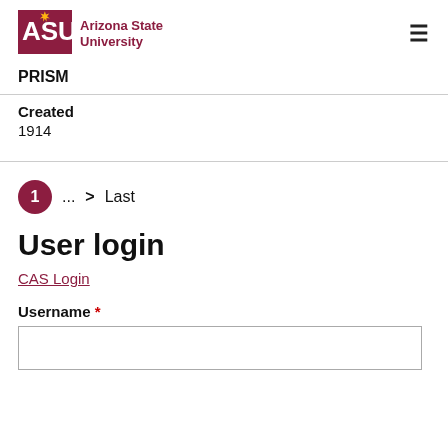ASU Arizona State University
PRISM
Created
1914
1 ... > Last
User login
CAS Login
Username *